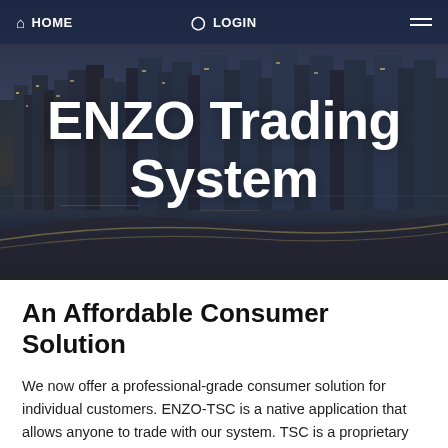[Figure (photo): Nighttime city skyline with waterfront and bridge, background photo for ENZO Trading System hero section]
HOME   LOGIN
ENZO Trading System
An Affordable Consumer Solution
We now offer a professional-grade consumer solution for individual customers. ENZO-TSC is a native application that allows anyone to trade with our system. TSC is a proprietary